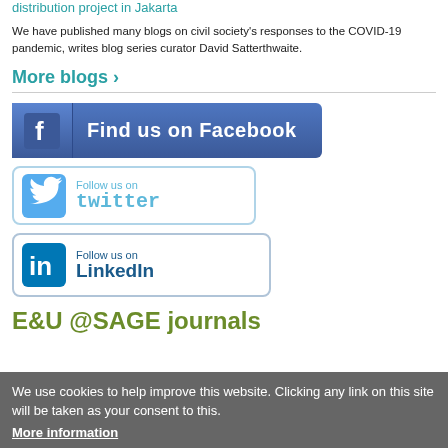distribution project in Jakarta
We have published many blogs on civil society's responses to the COVID-19 pandemic, writes blog series curator David Satterthwaite.
More blogs ›
[Figure (logo): Find us on Facebook button with Facebook logo icon]
[Figure (logo): Follow us on Twitter button with Twitter bird icon]
[Figure (logo): Follow us on LinkedIn button with LinkedIn icon]
E&U @SAGE journals
We use cookies to help improve this website. Clicking any link on this site will be taken as your consent to this.
More information